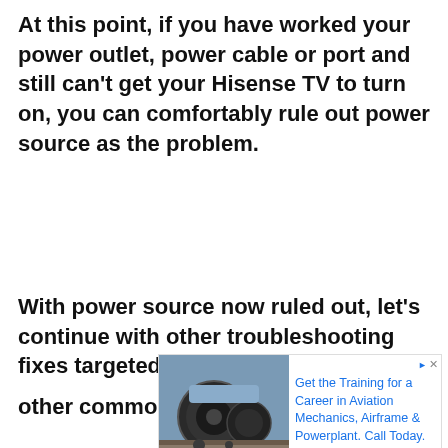At this point, if you have worked your power outlet, power cable or port and still can't get your Hisense TV to turn on, you can comfortably rule out power source as the problem.
With power source now ruled out, let's continue with other troubleshooting fixes targeted at other common causes of the issue
[Figure (photo): Advertisement banner showing an airplane engine (jet turbine) with text about aviation mechanics training. Text reads: 'Get the Training for a Career in Aviation Mechanics, Airframe & Powerplant. Call Today.' with an 'Ad' label below.]